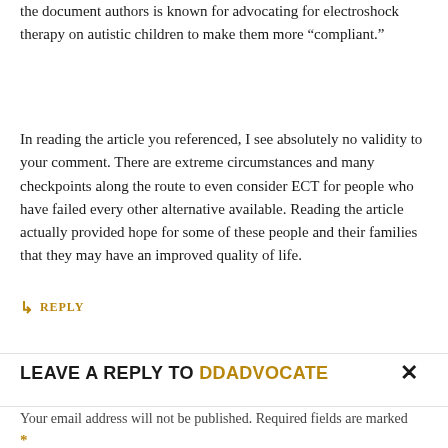the document authors is known for advocating for electroshock therapy on autistic children to make them more “compliant.”
In reading the article you referenced, I see absolutely no validity to your comment. There are extreme circumstances and many checkpoints along the route to even consider ECT for people who have failed every other alternative available. Reading the article actually provided hope for some of these people and their families that they may have an improved quality of life.
↳ REPLY
LEAVE A REPLY TO DDADVOCATE ×
Your email address will not be published. Required fields are marked *